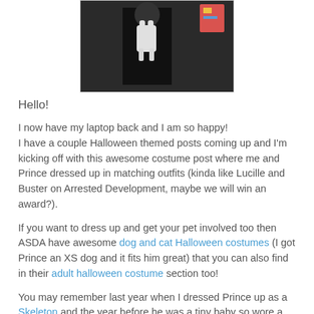[Figure (photo): A dark photo of a person dressed in black holding a small white cat or animal, both in matching Halloween costumes]
Hello!
I now have my laptop back and I am so happy! I have a couple Halloween themed posts coming up and I'm kicking off with this awesome costume post where me and Prince dressed up in matching outfits (kinda like Lucille and Buster on Arrested Development, maybe we will win an award?).
If you want to dress up and get your pet involved too then ASDA have awesome dog and cat Halloween costumes (I got Prince an XS dog and it fits him great) that you can also find in their adult halloween costume section too!
You may remember last year when I dressed Prince up as a Skeleton and the year before he was a tiny baby so wore a little cape. I chose the theme Devils for us this year, let me